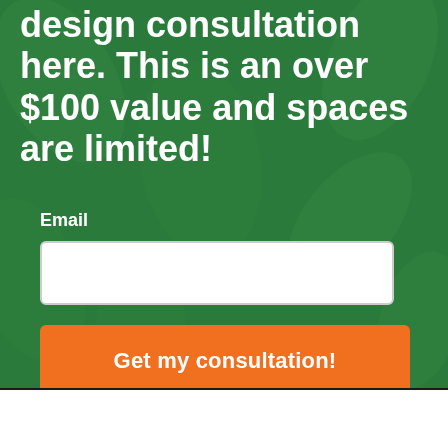design consultation here. This is an over $100 value and spaces are limited!
Email
Get my consultation!